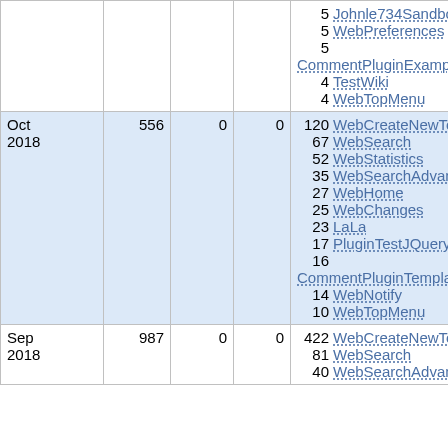| Date | Views | Saves | Col4 | Top Pages |
| --- | --- | --- | --- | --- |
|  |  |  |  | 5 Johnle734Sandbox
5 WebPreferences
5 CommentPluginExampleCo...
4 TestWiki
4 WebTopMenu |
| Oct 2018 | 556 | 0 | 0 | 120 WebCreateNewTopic
67 WebSearch
52 WebStatistics
35 WebSearchAdvanced
27 WebHome
25 WebChanges
23 LaLa
17 PluginTestJQueryPlugin
16 CommentPluginTemplateEx...
14 WebNotify
10 WebTopMenu |
| Sep 2018 | 987 | 0 | 0 | 422 WebCreateNewTopic
81 WebSearch
40 WebSearchAdvanced |